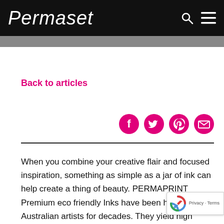Permaset
Back to articles
[Figure (infographic): Social sharing icons: Facebook, Twitter, Pinterest, Email — all in magenta/pink color]
When you combine your creative flair and focused inspiration, something as simple as a jar of ink can help create a thing of beauty. PERMAPRINT Premium eco friendly Inks have been helping Australian artists for decades. They yield high quality screen prints and